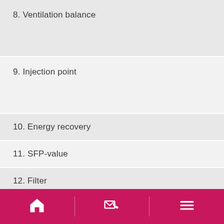8. Ventilation balance
9. Injection point
10. Energy recovery
11. SFP-value
12. Filter
13. References
14. Choice of material
Navigation bar with home, contact, and menu icons